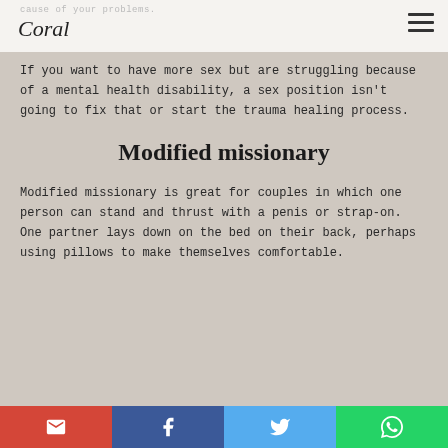cause of your problems. Coral
If you want to have more sex but are struggling because of a mental health disability, a sex position isn't going to fix that or start the trauma healing process.
Modified missionary
Modified missionary is great for couples in which one person can stand and thrust with a penis or strap-on. One partner lays down on the bed on their back, perhaps using pillows to make themselves comfortable.
Gmail Facebook Twitter WhatsApp share buttons